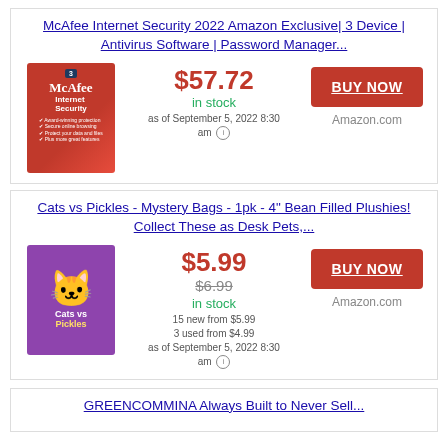McAfee Internet Security 2022 Amazon Exclusive| 3 Device | Antivirus Software | Password Manager...
$57.72
in stock
as of September 5, 2022 8:30 am
BUY NOW
Amazon.com
Cats vs Pickles - Mystery Bags - 1pk - 4" Bean Filled Plushies! Collect These as Desk Pets,...
$5.99
$6.99
in stock
15 new from $5.99
3 used from $4.99
as of September 5, 2022 8:30 am
BUY NOW
Amazon.com
GREENCOMMINA Always Built to Never Sell...